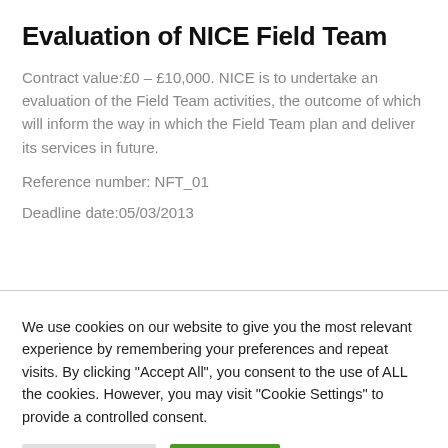Evaluation of NICE Field Team
Contract value:£0 – £10,000. NICE is to undertake an evaluation of the Field Team activities, the outcome of which will inform the way in which the Field Team plan and deliver its services in future.
Reference number: NFT_01
Deadline date:05/03/2013
We use cookies on our website to give you the most relevant experience by remembering your preferences and repeat visits. By clicking "Accept All", you consent to the use of ALL the cookies. However, you may visit "Cookie Settings" to provide a controlled consent.